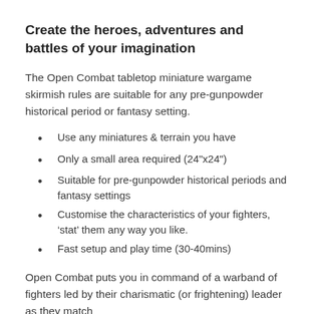Create the heroes, adventures and battles of your imagination
The Open Combat tabletop miniature wargame skirmish rules are suitable for any pre-gunpowder historical period or fantasy setting.
Use any miniatures & terrain you have
Only a small area required (24"x24")
Suitable for pre-gunpowder historical periods and fantasy settings
Customise the characteristics of your fighters, ‘stat’ them any way you like.
Fast setup and play time (30-40mins)
Open Combat puts you in command of a warband of fighters led by their charismatic (or frightening) leader as they match